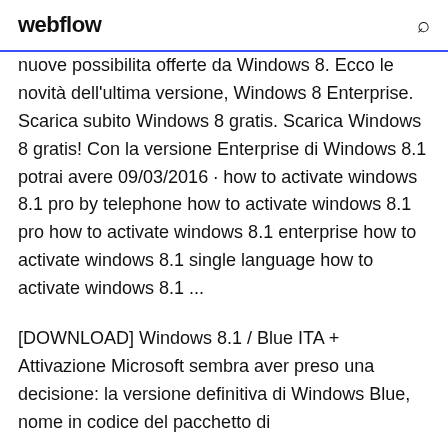webflow
nuove possibilita offerte da Windows 8. Ecco le novità dell'ultima versione, Windows 8 Enterprise. Scarica subito Windows 8 gratis. Scarica Windows 8 gratis! Con la versione Enterprise di Windows 8.1 potrai avere 09/03/2016 · how to activate windows 8.1 pro by telephone how to activate windows 8.1 pro how to activate windows 8.1 enterprise how to activate windows 8.1 single language how to activate windows 8.1 ...
[DOWNLOAD] Windows 8.1 / Blue ITA + Attivazione Microsoft sembra aver preso una decisione: la versione definitiva di Windows Blue, nome in codice del pacchetto di